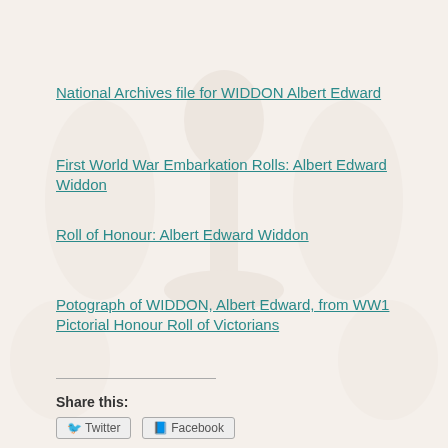National Archives file for WIDDON Albert Edward
First World War Embarkation Rolls: Albert Edward Widdon
Roll of Honour: Albert Edward Widdon
Potograph of WIDDON, Albert Edward, from WW1 Pictorial Honour Roll of Victorians
Share this:
Twitter  Facebook